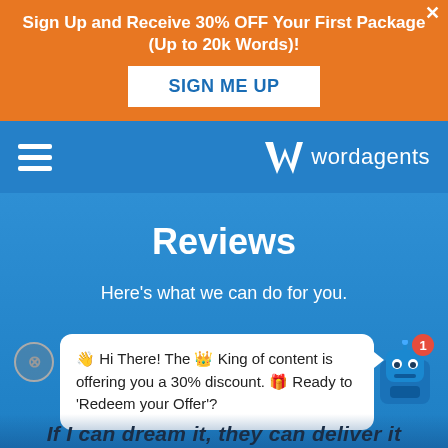Sign Up and Receive 30% OFF Your First Package (Up to 20k Words)!
SIGN ME UP
[Figure (logo): Wordagents logo with W icon and text 'wordagents' on blue navigation bar with hamburger menu]
Reviews
Here's what we can do for you.
👋 Hi There! The 👑 King of content is offering you a 30% discount. 🎁 Ready to 'Redeem your Offer'?
If I can dream it, they can deliver it